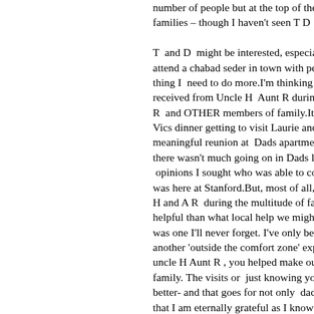number of people but at the top of the list are families – though I haven't seen T D for som T and D might be interested, especially,to kn attend a chabad seder in town with people m thing I need to do more.I'm thinking today of received from Uncle H Aunt R during difficul R and OTHER members of family.It was usu Vics dinner getting to visit Laurie and meet he meaningful reunion at Dads apartment. I kno there wasn't much going on in Dads life. Ill ne opinions I sought who was able to correctly c was here at Stanford.But, most of all, I am gra H and A R during the multitude of family issu helpful than what local help we might have re was one I'll never forget. I've only begun takir another 'outside the comfort zone' experience uncle H Aunt R , you helped make our later y family. The visits or just knowing you were ne better- and that goes for not only dad but mo that I am eternally grateful as I know Dad and here.I'm glad you're with family on this day so